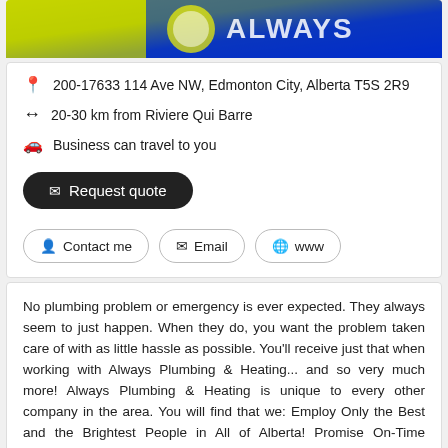[Figure (photo): Business logo banner with yellow-green and blue colors, showing partial text 'Always' in white]
200-17633 114 Ave NW, Edmonton City, Alberta T5S 2R9
20-30 km from Riviere Qui Barre
Business can travel to you
✉ Request quote
👤 Contact me   ✉ Email   🌐 www
No plumbing problem or emergency is ever expected. They always seem to just happen. When they do, you want the problem taken care of with as little hassle as possible. You'll receive just that when working with Always Plumbing & Heating... and so very much more! Always Plumbing & Heating is unique to every other company in the area. You will find that we: Employ Only the Best and the Brightest People in All of Alberta! Promise On-Time Service... Every Time! Are Available 24/7 with LIVE People Wanting... Read more